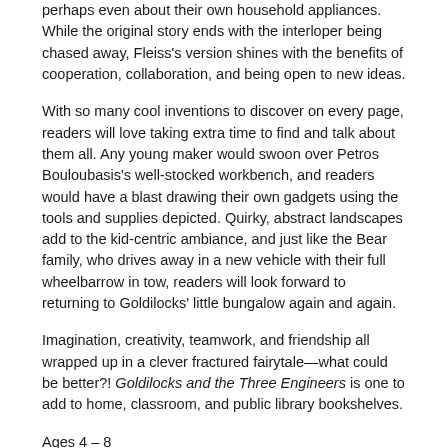perhaps even about their own household appliances. While the original story ends with the interloper being chased away, Fleiss's version shines with the benefits of cooperation, collaboration, and being open to new ideas.
With so many cool inventions to discover on every page, readers will love taking extra time to find and talk about them all. Any young maker would swoon over Petros Bouloubasis's well-stocked workbench, and readers would have a blast drawing their own gadgets using the tools and supplies depicted. Quirky, abstract landscapes add to the kid-centric ambiance, and just like the Bear family, who drives away in a new vehicle with their full wheelbarrow in tow, readers will look forward to returning to Goldilocks' little bungalow again and again.
Imagination, creativity, teamwork, and friendship all wrapped up in a clever fractured fairytale—what could be better?! Goldilocks and the Three Engineers is one to add to home, classroom, and public library bookshelves.
Ages 4 – 8